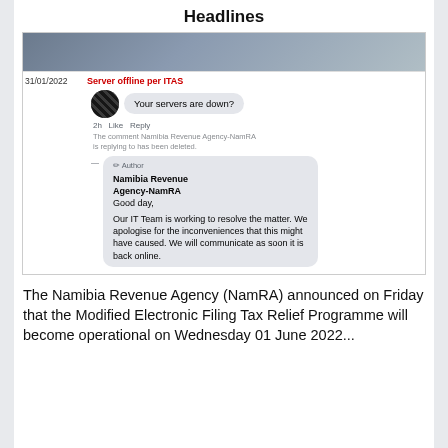Headlines
[Figure (screenshot): Screenshot of a Facebook post dated 31/01/2022 with red label 'Server offline per ITAS'. Shows a user comment 'Your servers are down?' with 2h Like Reply, followed by a deleted comment notice, and a reply from Namibia Revenue Agency-NamRA saying: 'Good day, Our IT Team is working to resolve the matter. We apologise for the inconveniences that this might have caused. We will communicate as soon it is back online.']
The Namibia Revenue Agency (NamRA) announced on Friday that the Modified Electronic Filing Tax Relief Programme will become operational on Wednesday 01 June 2022...